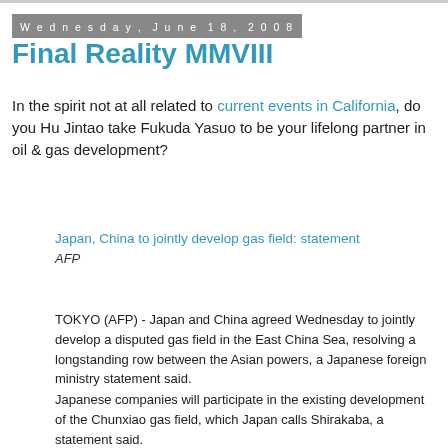Wednesday, June 18, 2008
Final Reality MMVIII
In the spirit not at all related to current events in California, do you Hu Jintao take Fukuda Yasuo to be your lifelong partner in oil & gas development?
Japan, China to jointly develop gas field: statement
AFP
TOKYO (AFP) - Japan and China agreed Wednesday to jointly develop a disputed gas field in the East China Sea, resolving a longstanding row between the Asian powers, a Japanese foreign ministry statement said.
Japanese companies will participate in the existing development of the Chunxiao gas field, which Japan calls Shirakaba, a statement said.
"To make the East China Sea a sea of peace and